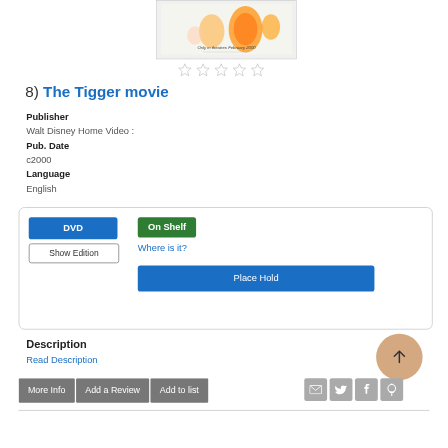[Figure (illustration): Movie poster for The Tigger Movie showing cartoon characters Tigger and friends, with text 'Only in theatres February 2000']
[Figure (other): Five empty star rating icons (no stars filled)]
8) The Tigger movie
Publisher
Walt Disney Home Video :
Pub. Date
c2000
Language
English
DVD | On Shelf | Where is it? | Show Edition | Place Hold
Description
Read Description
More Info | Add a Review | Add to list